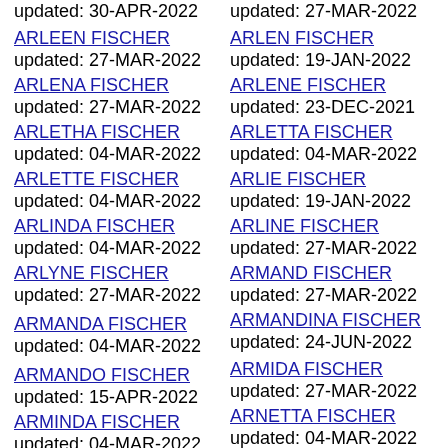updated: 30-APR-2022
ARLEEN FISCHER updated: 27-MAR-2022
ARLENA FISCHER updated: 27-MAR-2022
ARLETHA FISCHER updated: 04-MAR-2022
ARLETTE FISCHER updated: 04-MAR-2022
ARLINDA FISCHER updated: 04-MAR-2022
ARLYNE FISCHER updated: 27-MAR-2022
ARMANDA FISCHER updated: 04-MAR-2022
ARMANDO FISCHER updated: 15-APR-2022
ARMINDA FISCHER updated: 04-MAR-2022
updated: 27-MAR-2022
ARLEN FISCHER updated: 19-JAN-2022
ARLENE FISCHER updated: 23-DEC-2021
ARLETTA FISCHER updated: 04-MAR-2022
ARLIE FISCHER updated: 19-JAN-2022
ARLINE FISCHER updated: 27-MAR-2022
ARMAND FISCHER updated: 27-MAR-2022
ARMANDINA FISCHER updated: 24-JUN-2022
ARMIDA FISCHER updated: 27-MAR-2022
ARNETTA FISCHER updated: 04-MAR-2022